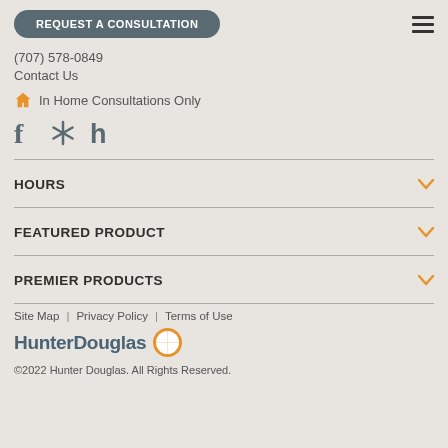REQUEST A CONSULTATION
(707) 578-0849
Contact Us
In Home Consultations Only
[Figure (other): Social media icons: Facebook, Yelp, Houzz]
HOURS
FEATURED PRODUCT
PREMIER PRODUCTS
Site Map | Privacy Policy | Terms of Use
[Figure (logo): HunterDouglas logo with orange compass icon]
©2022 Hunter Douglas. All Rights Reserved.